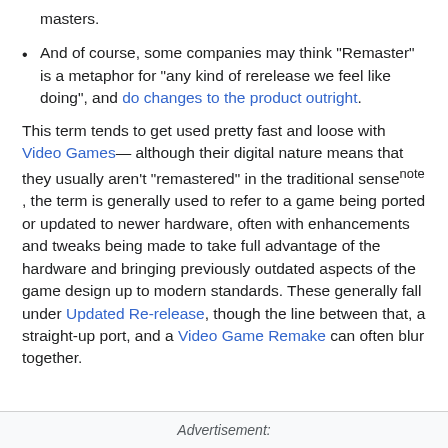masters.
And of course, some companies may think "Remaster" is a metaphor for "any kind of rerelease we feel like doing", and do changes to the product outright.
This term tends to get used pretty fast and loose with Video Games— although their digital nature means that they usually aren't "remastered" in the traditional sense[note] , the term is generally used to refer to a game being ported or updated to newer hardware, often with enhancements and tweaks being made to take full advantage of the hardware and bringing previously outdated aspects of the game design up to modern standards. These generally fall under Updated Re-release, though the line between that, a straight-up port, and a Video Game Remake can often blur together.
Advertisement: